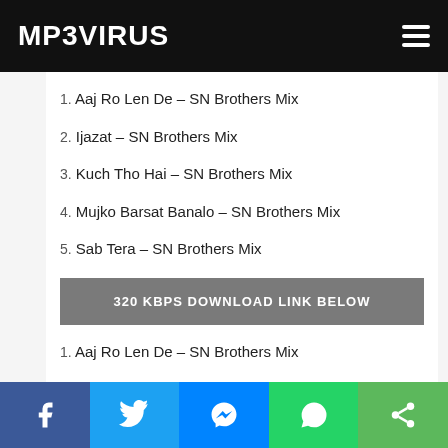MP3VIRUS
1. Aaj Ro Len De – SN Brothers Mix
2. Ijazat – SN Brothers Mix
3. Kuch Tho Hai – SN Brothers Mix
4. Mujko Barsat Banalo – SN Brothers Mix
5. Sab Tera – SN Brothers Mix
320 KBPS DOWNLOAD LINK BELOW
1. Aaj Ro Len De – SN Brothers Mix
2. Ijazat – SN Brothers Mix
3. Kuch Tho Hai – SN Brothers Mix
4. Mujko Barsat Banalo – SN Brothers Mix
Social share bar: Facebook, Twitter, Messenger, WhatsApp, Share